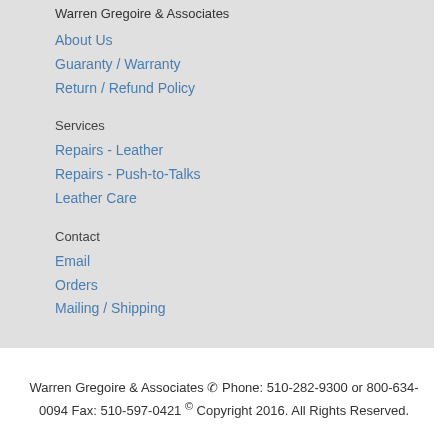Warren Gregoire & Associates
About Us
Guaranty / Warranty
Return / Refund Policy
Services
Repairs - Leather
Repairs - Push-to-Talks
Leather Care
Contact
Email
Orders
Mailing / Shipping
Warren Gregoire & Associates ☎ Phone: 510-282-9300 or 800-634-0094 Fax: 510-597-0421 © Copyright 2016. All Rights Reserved.